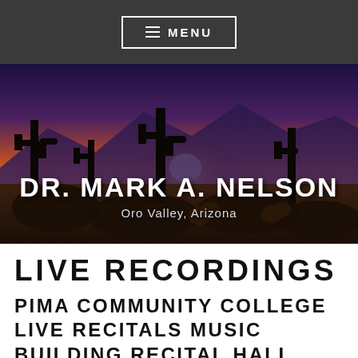≡ MENU
[Figure (photo): Desert sunset landscape with saguaro cacti silhouetted against an orange and purple sky with mountains in the background. Overlaid text reads 'DR. MARK A. NELSON' and 'Oro Valley, Arizona'.]
DR. MARK A. NELSON
Oro Valley, Arizona
LIVE RECORDINGS
PIMA COMMUNITY COLLEGE LIVE RECITALS MUSIC BUILDING RECITAL HALL, WEST CAMPUS